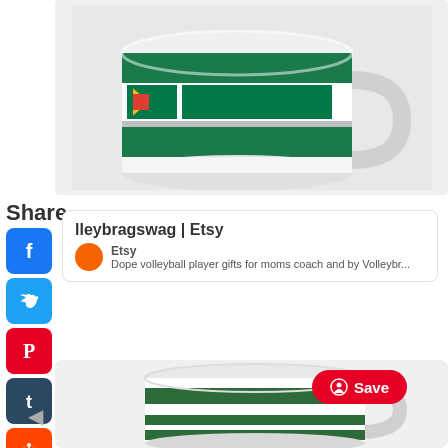[Figure (photo): Green ceramic mug with South Africa flag pattern band at top]
Share
[Figure (screenshot): Social share icons: Facebook, Twitter, Pinterest, Tumblr, Reddit, WhatsApp]
[Figure (screenshot): Etsy link card showing 'lleybragswag | Etsy' with Etsy logo and description: Dope volleyball player gifts for moms coach and by Volleybr...]
[Figure (photo): White ceramic mug with green horizontal stripe bands]
[Figure (screenshot): Pinterest Save button]